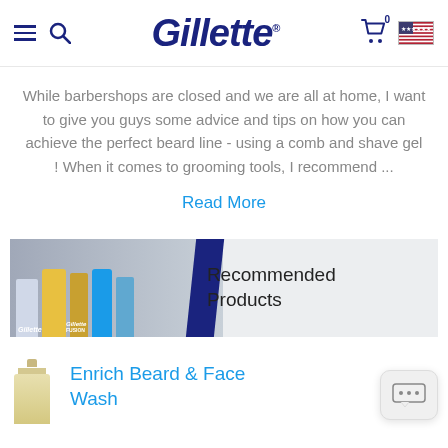Gillette
While barbershops are closed and we are all at home, I want to give you guys some advice and tips on how you can achieve the perfect beard line - using a comb and shave gel ! When it comes to grooming tools, I recommend ...
Read More
[Figure (photo): Recommended Products banner with Gillette product images on the left and text 'Recommended Products' on the right, separated by a dark navy diagonal stripe]
[Figure (photo): Enrich Beard & Face Wash product bottle and title text in cyan blue]